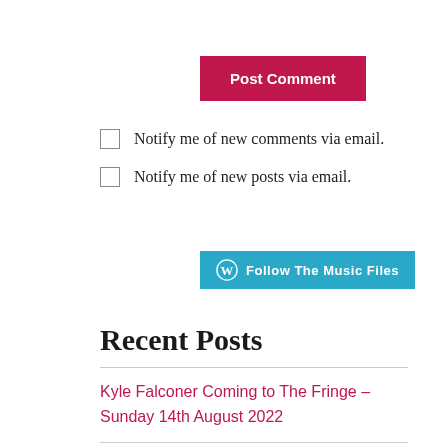Post Comment
Notify me of new comments via email.
Notify me of new posts via email.
[Figure (other): Follow The Music Files button with WordPress logo]
Recent Posts
Kyle Falconer Coming to The Fringe – Sunday 14th August 2022
INTERVIEW: Jesse James Wood, Not Quite The American Outlaw But An English Musician Making Waves at The Fringe...